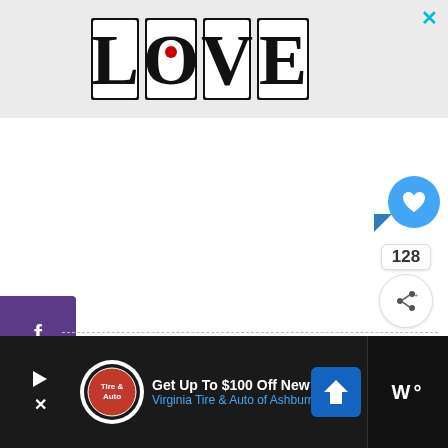[Figure (logo): LOVE decorative typographic logo with black and white illustrated characters inside each letter]
[Figure (infographic): Social media sharing sidebar with Facebook, Twitter, Pinterest, and LinkedIn icons on purple background]
[Figure (infographic): Like/upvote widget showing 128 likes with blue heart bubble and share button]
[Figure (infographic): Bottom advertisement bar: Get Up To $100 Off New Brakes - Virginia Tire & Auto of Ashburn Farms]